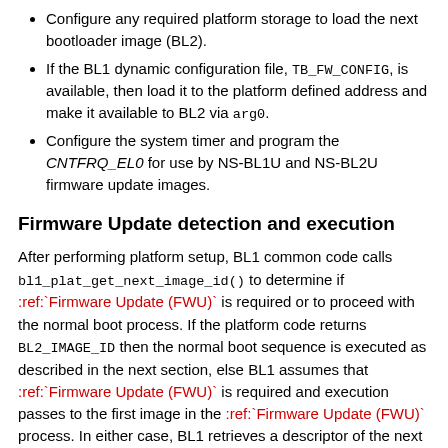Configure any required platform storage to load the next bootloader image (BL2).
If the BL1 dynamic configuration file, TB_FW_CONFIG, is available, then load it to the platform defined address and make it available to BL2 via arg0.
Configure the system timer and program the CNTFRQ_EL0 for use by NS-BL1U and NS-BL2U firmware update images.
Firmware Update detection and execution
After performing platform setup, BL1 common code calls bl1_plat_get_next_image_id() to determine if :ref:`Firmware Update (FWU)` is required or to proceed with the normal boot process. If the platform code returns BL2_IMAGE_ID then the normal boot sequence is executed as described in the next section, else BL1 assumes that :ref:`Firmware Update (FWU)` is required and execution passes to the first image in the :ref:`Firmware Update (FWU)` process. In either case, BL1 retrieves a descriptor of the next image by calling bl1_plat_get_image_desc(). The image descriptor contains an entry_point_info_t structure, which BL1 uses to initialize the execution state of the next image.
System Message: ERROR/3 (<stdin>, line 326); backlink